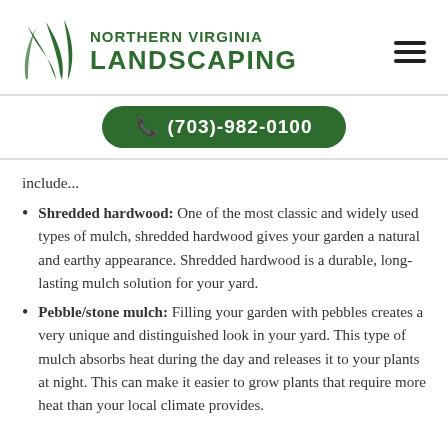NORTHERN VIRGINIA LANDSCAPING
(703)-982-0100
include...
Shredded hardwood: One of the most classic and widely used types of mulch, shredded hardwood gives your garden a natural and earthy appearance. Shredded hardwood is a durable, long-lasting mulch solution for your yard.
Pebble/stone mulch: Filling your garden with pebbles creates a very unique and distinguished look in your yard. This type of mulch absorbs heat during the day and releases it to your plants at night. This can make it easier to grow plants that require more heat than your local climate provides.